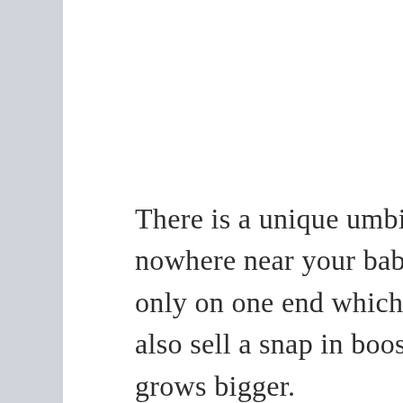There is a unique umbilical cord cut, so this diaper will go nowhere near your baby?s cord. The main insert is attached only on one end which makes it easier to dry. Smart bottoms also sell a snap in booster to increase absorbency as your baby grows bigger.
Overall this diaper checks everything that I look for in a newborn diaper and